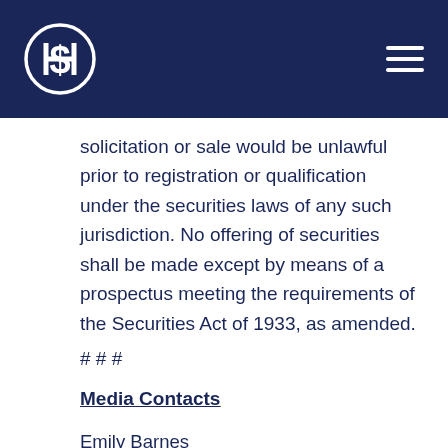solicitation or sale would be unlawful prior to registration or qualification under the securities laws of any such jurisdiction. No offering of securities shall be made except by means of a prospectus meeting the requirements of the Securities Act of 1933, as amended.
# # #
Media Contacts
Emily Barnes
APCO Worldwide
ebames@apcoworldwide.com